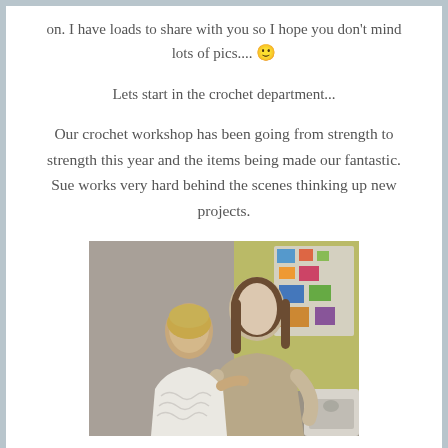on. I have loads to share with you so I hope you don't mind lots of pics.... 🙂
Lets start in the crochet department...
Our crochet workshop has been going from strength to strength this year and the items being made our fantastic. Sue works very hard behind the scenes thinking up new projects.
[Figure (photo): Two women smiling together indoors; one shorter woman with glasses wearing a white patterned top, one taller woman with long brown hair wearing a beige knit top, with colorful artwork visible in the background.]